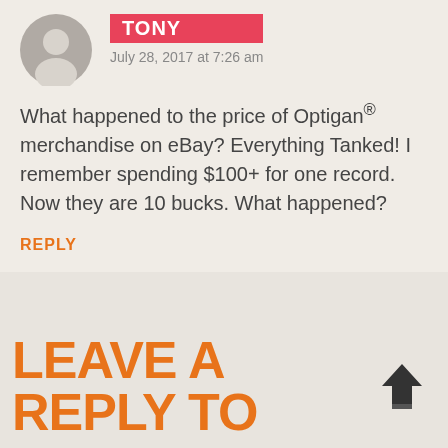[Figure (illustration): Gray default user avatar silhouette in a circle]
TONY
July 28, 2017 at 7:26 am
What happened to the price of Optigan® merchandise on eBay? Everything Tanked! I remember spending $100+ for one record. Now they are 10 bucks. What happened?
REPLY
LEAVE A REPLY TO